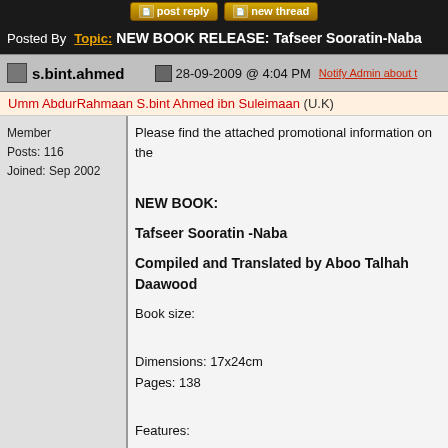post reply | new thread
Posted By | Topic: NEW BOOK RELEASE: Tafseer Sooratin-Naba
s.bint.ahmed | 28-09-2009 @ 4:04 PM | Notify Admin about t
Umm AbdurRahmaan S.bint Ahmed ibn Suleimaan (U.K)
Member
Posts: 116
Joined: Sep 2002
Please find the attached promotional information on the
NEW BOOK:
Tafseer Sooratin -Naba
Compiled and Translated by Aboo Talhah Daawood
Book size:
Dimensions: 17x24cm
Pages: 138
Features:
*Introduction on the importance and principles of Tafsee
*Explanation of the Soorah
*Biographies of the Scholars of Tafseer and the Salaf w
*Chains of narration from the Salaf
*Price: ý7.50
For further information please contact: sharhussunnahp